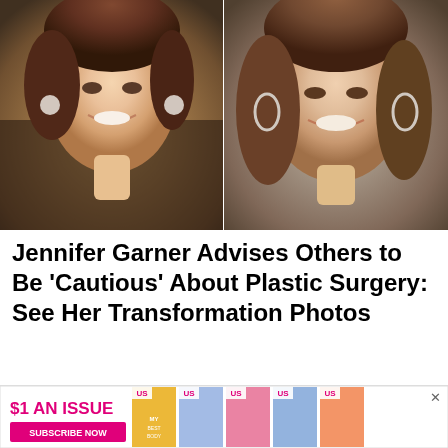[Figure (photo): Side-by-side comparison photos of Jennifer Garner — left photo shows her younger with diamond drop earrings and updo, right photo shows her more recently with long wavy hair and hoop earrings]
Jennifer Garner Advises Others to Be 'Cautious' About Plastic Surgery: See Her Transformation Photos
[Figure (photo): Advertisement banner showing two people embracing with text 'The TITANIC Brought the World Together.' on a dark background with blue lighting]
[Figure (photo): Bottom advertisement banner reading '$1 AN ISSUE SUBSCRIBE NOW' with US Weekly magazine covers shown alongside]